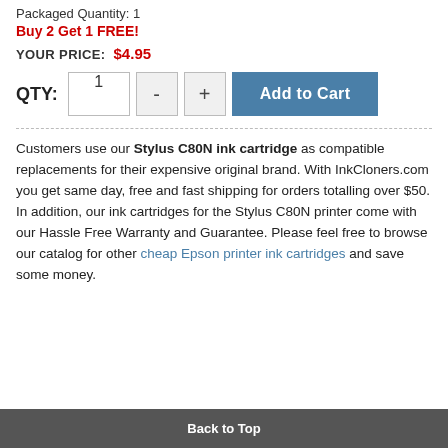Packaged Quantity: 1
Buy 2 Get 1 FREE!
YOUR PRICE:  $4.95
QTY: 1 - + Add to Cart
Customers use our Stylus C80N ink cartridge as compatible replacements for their expensive original brand. With InkCloners.com you get same day, free and fast shipping for orders totalling over $50. In addition, our ink cartridges for the Stylus C80N printer come with our Hassle Free Warranty and Guarantee. Please feel free to browse our catalog for other cheap Epson printer ink cartridges and save some money.
Back to Top